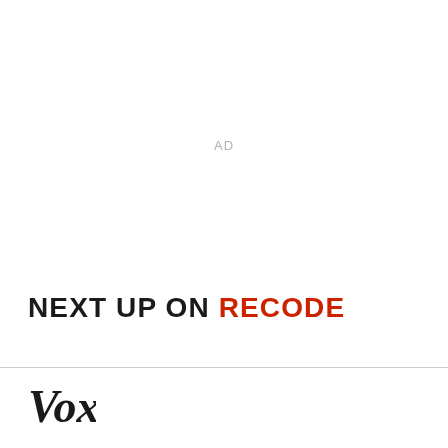AD
NEXT UP ON RECODE
[Figure (logo): Vox media logo in black serif italic font]